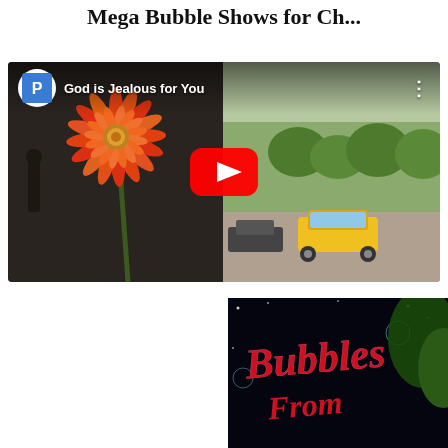Mega Bubble Shows for Ch...
[Figure (screenshot): YouTube video embed showing 'God is Jealous for You' with PeaceWithGod channel avatar, play button, and thumbnail of orange flower with city street background]
[Figure (photo): Colorful logo/sign reading 'Bubbles From...' in red letters on dark background with bubbles]